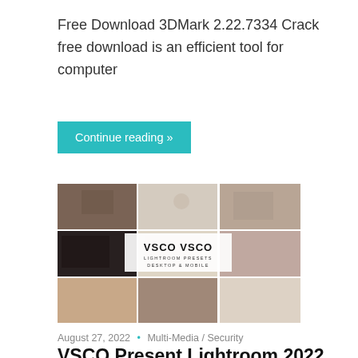Free Download 3DMark 2.22.7334 Crack free download is an efficient tool for computer
Continue reading »
[Figure (photo): A collage of lifestyle photos with a central white overlay showing 'VSCO VSCO LIGHTROOM PRESETS DESKTOP & MOBILE']
August 27, 2022  •  Multi-Media / Security
VSCO Present Lightroom 2022 Crack